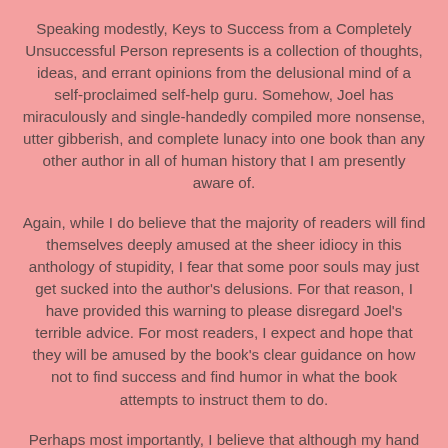Speaking modestly, Keys to Success from a Completely Unsuccessful Person represents is a collection of thoughts, ideas, and errant opinions from the delusional mind of a self-proclaimed self-help guru. Somehow, Joel has miraculously and single-handedly compiled more nonsense, utter gibberish, and complete lunacy into one book than any other author in all of human history that I am presently aware of.
Again, while I do believe that the majority of readers will find themselves deeply amused at the sheer idiocy in this anthology of stupidity, I fear that some poor souls may just get sucked into the author's delusions. For that reason, I have provided this warning to please disregard Joel's terrible advice. For most readers, I expect and hope that they will be amused by the book's clear guidance on how not to find success and find humor in what the book attempts to instruct them to do.
Perhaps most importantly, I believe that although my hand was forced to publish this book of unrefined nonsense by Joel and my superiors. Joel will finally be exposed to the